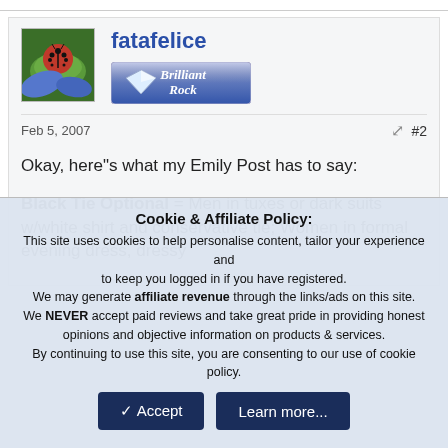fatafelice
[Figure (illustration): Brilliant Rock badge — blue/silver badge with diamond icon and text 'Brilliant Rock']
Feb 5, 2007   #2
Okay, here"s what my Emily Post has to say:
Black Tie Optional = Men in tuxes or dark suits w/white shirt and conservative tie; Women in formal evening dress, dressy
Cookie & Affiliate Policy:
This site uses cookies to help personalise content, tailor your experience and to keep you logged in if you have registered.
We may generate affiliate revenue through the links/ads on this site.
We NEVER accept paid reviews and take great pride in providing honest opinions and objective information on products & services.
By continuing to use this site, you are consenting to our use of cookie policy.